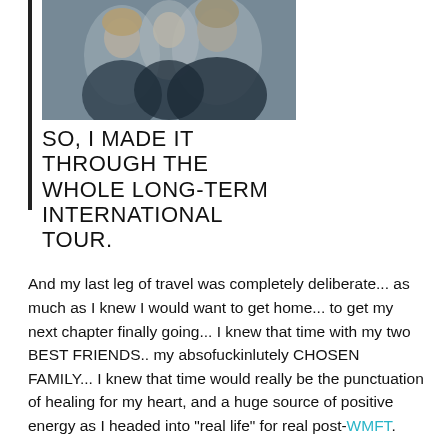[Figure (photo): Photo of people together, appears to be a selfie or group photo with blended high-contrast colors]
SO, I MADE IT THROUGH THE WHOLE LONG-TERM INTERNATIONAL TOUR.
And my last leg of travel was completely deliberate... as much as I knew I would want to get home... to get my next chapter finally going... I knew that time with my two BEST FRIENDS.. my absofuckinlutely CHOSEN FAMILY... I knew that time would really be the punctuation of healing for my heart, and a huge source of positive energy as I headed into “real life” for real post-WMFT.
And I was right.
This might sound weird, but one of the things I